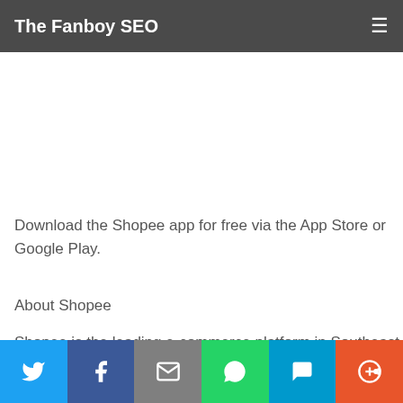The Fanboy SEO
Download the Shopee app for free via the App Store or Google Play.
About Shopee
Shopee is the leading e-commerce platform in Southeast Asia
Social share bar: Twitter, Facebook, Email, WhatsApp, SMS, More